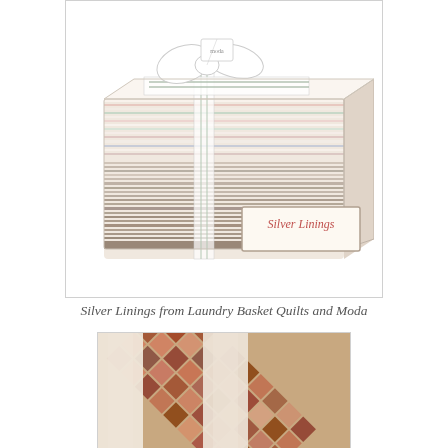[Figure (photo): A stack of fabric fat quarters bundled with a decorative ribbon bow, predominantly cream and light floral fabrics with pink and green accents. A label reading 'Silver Linings' in pink script is shown in the bottom right of the image.]
Silver Linings from Laundry Basket Quilts and Moda
[Figure (photo): Close-up of a quilt pattern featuring a cream/beige textured diagonal sashing or lattice design with brown, rust, and pink patchwork blocks arranged in a diagonal grid pattern.]